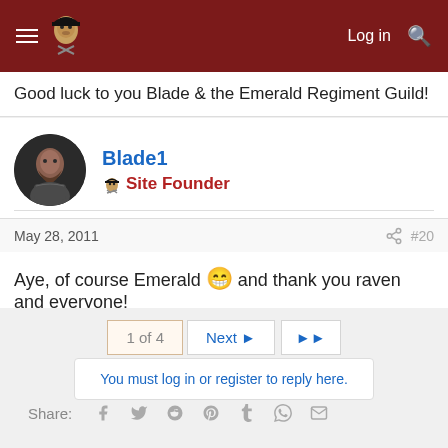Log in  🔍
Good luck to you Blade & the Emerald Regiment Guild!
Blade1  🏴 Site Founder
May 28, 2011  #20
Aye, of course Emerald 😁 and thank you raven and everyone!
1 of 4  Next ▶  ▶▶
You must log in or register to reply here.
Share:  f  🐦  reddit  pinterest  tumblr  whatsapp  email